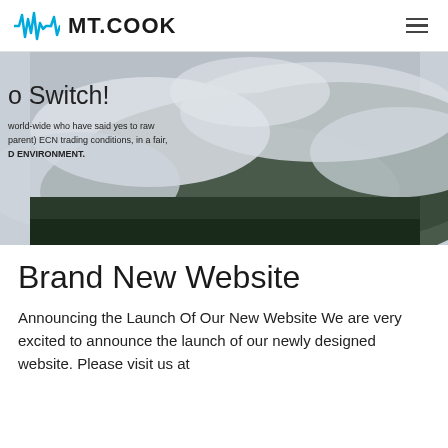MT.COOK
[Figure (screenshot): Hero image of misty mountain forest with text overlay: 'o Switch!' and body text about ECN trading conditions. Dark forested mountain visible through clouds.]
Brand New Website
Announcing the Launch Of Our New Website We are very excited to announce the launch of our newly designed website. Please visit us at